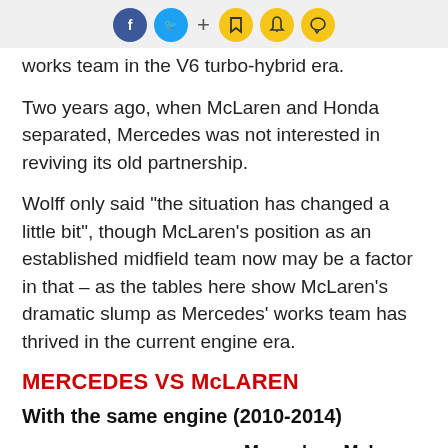[social icons: Facebook, Twitter, +, Bookmark, Bell, Chat]
works team in the V6 turbo-hybrid era.
Two years ago, when McLaren and Honda separated, Mercedes was not interested in reviving its old partnership.
Wolff only said "the situation has changed a little bit", though McLaren's position as an established midfield team now may be a factor in that – as the tables here show McLaren's dramatic slump as Mercedes' works team has thrived in the current engine era.
MERCEDES VS McLAREN
With the same engine (2010-2014)
|  | Mercedes | McLaren |
| --- | --- | --- |
| Wins | 20 | 18 |